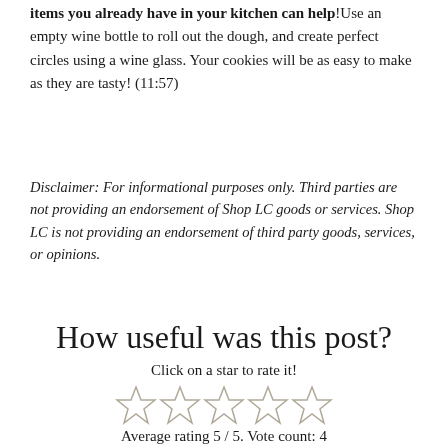items you already have in your kitchen can help! Use an empty wine bottle to roll out the dough, and create perfect circles using a wine glass. Your cookies will be as easy to make as they are tasty! (11:57)
Disclaimer: For informational purposes only. Third parties are not providing an endorsement of Shop LC goods or services. Shop LC is not providing an endorsement of third party goods, services, or opinions.
How useful was this post?
Click on a star to rate it!
[Figure (other): Five empty star rating icons displayed in a row]
Average rating 5 / 5. Vote count: 4